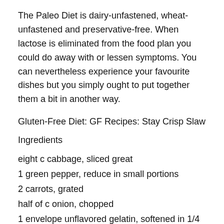The Paleo Diet is dairy-unfastened, wheat-unfastened and preservative-free. When lactose is eliminated from the food plan you could do away with or lessen symptoms. You can nevertheless experience your favourite dishes but you simply ought to put together them a bit in another way.
Gluten-Free Diet: GF Recipes: Stay Crisp Slaw
Ingredients
eight c cabbage, sliced great
1 green pepper, reduce in small portions
2 carrots, grated
half of c onion, chopped
1 envelope unflavored gelatin, softened in 1/4 c water.
2 t celery seed
2/3 c apple cider vinegar